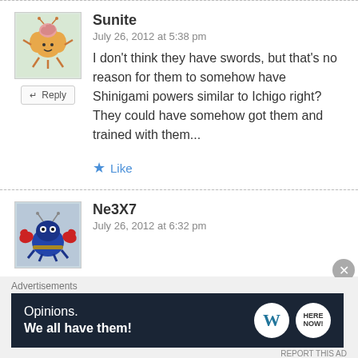[Figure (illustration): Avatar of Sunite: cartoon brain on a clover-shaped yellow-orange body with legs, on light green background]
Sunite
July 26, 2012 at 5:38 pm
I don't think they have swords, but that's no reason for them to somehow have Shinigami powers similar to Ichigo right? They could have somehow got them and trained with them...
Like
[Figure (illustration): Avatar of Ne3X7: cartoon crab with red claws and blue body]
Ne3X7
July 26, 2012 at 6:32 pm
Advertisements
[Figure (illustration): WordPress advertisement banner: dark navy background with text 'Opinions. We all have them!' and WordPress and Hive logos]